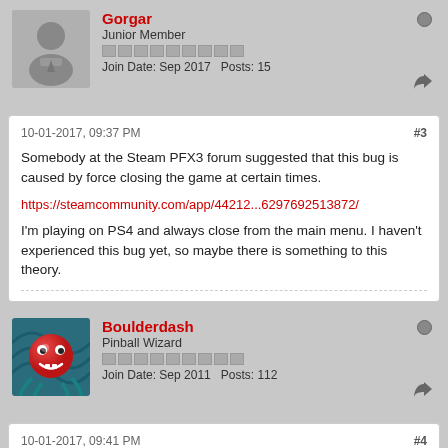Gorgar
Junior Member
Join Date: Sep 2017   Posts: 15
10-01-2017, 09:37 PM
#3
Somebody at the Steam PFX3 forum suggested that this bug is caused by force closing the game at certain times.
https://steamcommunity.com/app/44212...6297692513872/
I'm playing on PS4 and always close from the main menu. I haven't experienced this bug yet, so maybe there is something to this theory.
Boulderdash
Pinball Wizard
Join Date: Sep 2011   Posts: 112
10-01-2017, 09:41 PM
#4
I hope the dev team will reply with some comforting news about adressing the crash and import issues on windows 10.